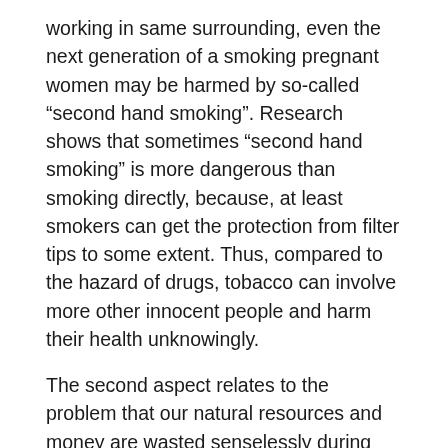working in same surrounding, even the next generation of a smoking pregnant women may be harmed by so-called “second hand smoking”. Research shows that sometimes “second hand smoking” is more dangerous than smoking directly, because, at least smokers can get the protection from filter tips to some extent. Thus, compared to the hazard of drugs, tobacco can involve more other innocent people and harm their health unknowingly.
The second aspect relates to the problem that our natural resources and money are wasted senselessly during the course of planting, transporting and manufacturing tobacco. In light of a statistics, China consumes nearly 1,000 tons of wood fibers to produce cigarettes annually. Besides, the investment absorbed by tobacco manufacturers every year, is enough to solve all financial troubles that higher education have to face.